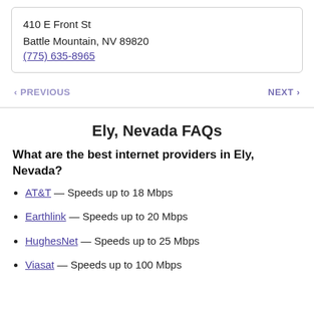410 E Front St
Battle Mountain, NV 89820
(775) 635-8965
< PREVIOUS   NEXT >
Ely, Nevada FAQs
What are the best internet providers in Ely, Nevada?
AT&T — Speeds up to 18 Mbps
Earthlink — Speeds up to 20 Mbps
HughesNet — Speeds up to 25 Mbps
Viasat — Speeds up to 100 Mbps